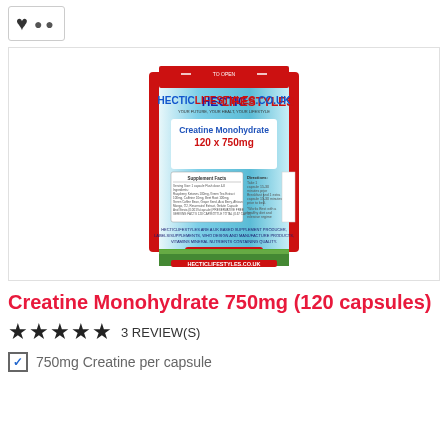[Figure (photo): Product photo of a blue and red resealable bag of Creatine Monohydrate 120 x 750mg from HecticLifestyles.co.uk]
Creatine Monohydrate 750mg (120 capsules)
★★★★★  3 REVIEW(S)
750mg Creatine per capsule